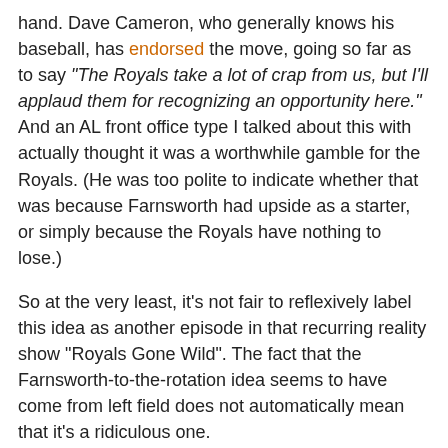hand. Dave Cameron, who generally knows his baseball, has endorsed the move, going so far as to say "The Royals take a lot of crap from us, but I'll applaud them for recognizing an opportunity here." And an AL front office type I talked about this with actually thought it was a worthwhile gamble for the Royals. (He was too polite to indicate whether that was because Farnsworth had upside as a starter, or simply because the Royals have nothing to lose.)
So at the very least, it's not fair to reflexively label this idea as another episode in that recurring reality show "Royals Gone Wild". The fact that the Farnsworth-to-the-rotation idea seems to have come from left field does not automatically mean that it's a ridiculous one.
Let me see if I can sum up all the reasons to make this move:
1) Farnsworth is a power pitcher, and clearly has enough velocity that even if he loses the usual 2-3 mph on his fastball when he has to pace himself, he should still have plenty of raw stuff to succeed in the rotation.